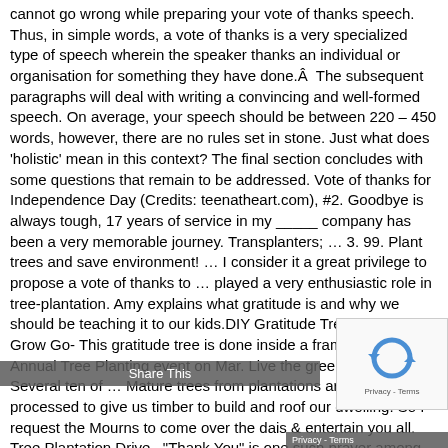cannot go wrong while preparing your vote of thanks speech. Thus, in simple words, a vote of thanks is a very specialized type of speech wherein the speaker thanks an individual or organisation for something they have done.Â  The subsequent paragraphs will deal with writing a convincing and well-formed speech. On average, your speech should be between 220 – 450 words, however, there are no rules set in stone. Just what does 'holistic' mean in this context? The final section concludes with some questions that remain to be addressed. Vote of thanks for Independence Day (Credits: teenatheart.com), #2. Goodbye is always tough, 17 years of service in my _____ company has been a very memorable journey. Transplanters; … 3. 99. Plant trees and save environment! … I consider it a great privilege to propose a vote of thanks to … played a very enthusiastic role in tree-plantation. Amy explains what gratitude is and why we should be teaching it to our kids.DIY Gratitude Tree Craft by Go Grow Go- This gratitude tree is done inside a frame … Our 11th Annual Tree Planting event on Mar. Live the green dream! Several ten of … Mature trees from plantations are cut and processed to give us timber to build and roof our dwelling. So I request the Mourns to come over the dais & entertain you all. Tree Plantation Drive . "Thank You" is one such prayer among them. Vote of thanks to a speaker (Credits: topics-help.com), #3.Â Vote of thanks to an organization (speech-topics-help.com). Terms of Use, Privacy Policy, C Policy, and Copyrights. Also check.Â Here is the essay checker ...
Share This
[Figure (other): CAPTCHA reCAPTCHA widget with circular arrows icon and Privacy - Terms label]